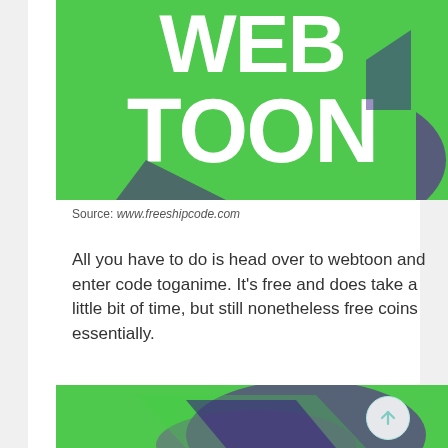[Figure (logo): Webtoon logo on green background with large white bold text reading WEB TOON and chat bubble shape with purple/blue shadow accents]
Source: www.freeshipcode.com
All you have to do is head over to webtoon and enter code toganime. It's free and does take a little bit of time, but still nonetheless free coins essentially.
[Figure (logo): Webtoon logo on green background with chat bubble shape and purple/blue shadow, partially cropped at bottom]